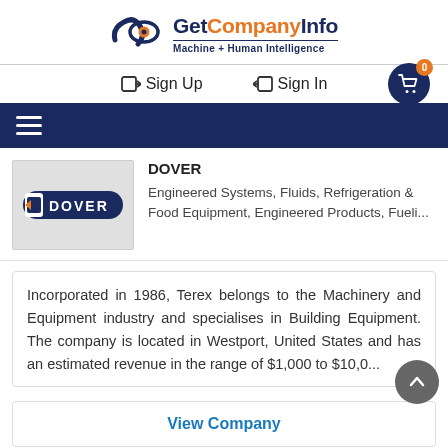GetCompanyInfo — Machine + Human Intelligence
Sign Up   Sign In
[Figure (logo): GetCompanyInfo logo with checkmark/eye icon, text 'GetCompanyInfo' and tagline 'Machine + Human Intelligence']
DOVER
Engineered Systems, Fluids, Refrigeration & Food Equipment, Engineered Products, Fueli...
Incorporated in 1986, Terex belongs to the Machinery and Equipment industry and specialises in Building Equipment. The company is located in Westport, United States and has an estimated revenue in the range of $1,000 to $10,0...
View Company